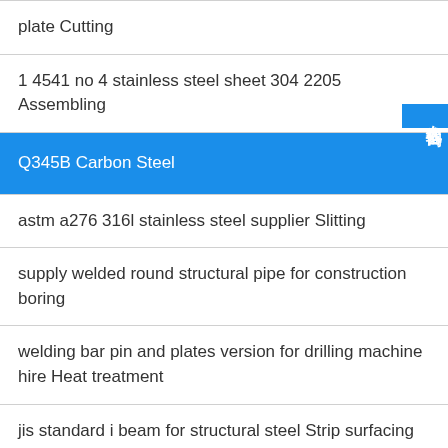plate Cutting
1 4541 no 4 stainless steel sheet 304 2205 Assembling
Q345B Carbon Steel
astm a276 316l stainless steel supplier Slitting
supply welded round structural pipe for construction boring
welding bar pin and plates version for drilling machine hire Heat treatment
jis standard i beam for structural steel Strip surfacing welding